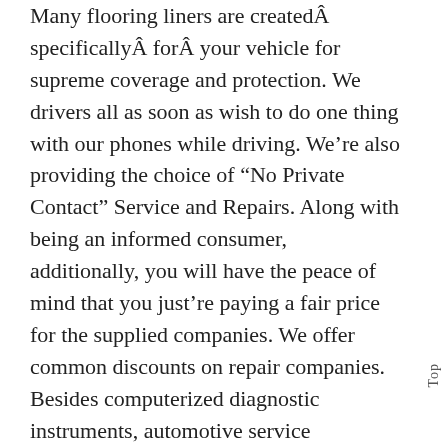Many flooring liners are createdÂ specificallyÂ forÂ your vehicle for supreme coverage and protection. We drivers all as soon as wish to do one thing with our phones while driving. We’re also providing the choice of “No Private Contact” Service and Repairs. Along with being an informed consumer, additionally, you will have the peace of mind that you just’re paying a fair price for the supplied companies. We offer common discounts on repair companies. Besides computerized diagnostic instruments, automotive service technicians use quite a lot of other tools to assist them of their day-to-day work. It was thought of to be
Top